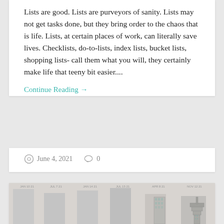Lists are good. Lists are purveyors of sanity. Lists may not get tasks done, but they bring order to the chaos that is life. Lists, at certain places of work, can literally save lives. Checklists, do-to-lists, index lists, bucket lists, shopping lists- call them what you will, they certainly make life that teeny bit easier....
Continue Reading →
June 4, 2021   0
Onwards and growing.
[Figure (illustration): A row of book-like vertical bars with small labels at the top, and illustrated buildings (skyscrapers) visible in the right portion of the strip, against a light gray background.]